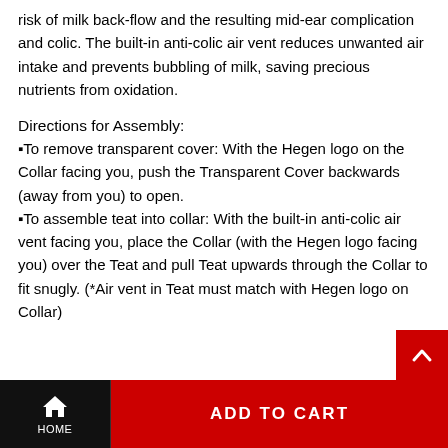risk of milk back-flow and the resulting mid-ear complication and colic. The built-in anti-colic air vent reduces unwanted air intake and prevents bubbling of milk, saving precious nutrients from oxidation.
Directions for Assembly:
▪To remove transparent cover: With the Hegen logo on the Collar facing you, push the Transparent Cover backwards (away from you) to open.
▪To assemble teat into collar: With the built-in anti-colic air vent facing you, place the Collar (with the Hegen logo facing you) over the Teat and pull Teat upwards through the Collar to fit snugly. (*Air vent in Teat must match with Hegen logo on Collar)
HOME   ADD TO CART